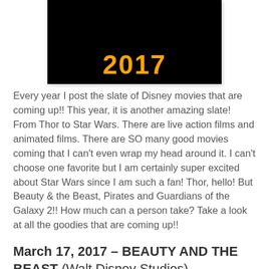[Figure (photo): Dark background image with '2017' text in orange/yellow bold block letters, resembling a movie slate or promo image.]
Every year I post the slate of Disney movies that are coming up!! This year, it is another amazing slate! From Thor to Star Wars. There are live action films and animated films. There are SO many good movies coming that I can't even wrap my head around it. I can't choose one favorite but I am certainly super excited about Star Wars since I am such a fan! Thor, hello! But Beauty & the Beast, Pirates and Guardians of the Galaxy 2!! How much can a person take? Take a look at all the goodies that are coming up!!
March 17, 2017 – BEAUTY AND THE BEAST (Walt Disney Studios)
#BeautyAndTheBeast
#BeOurGuest